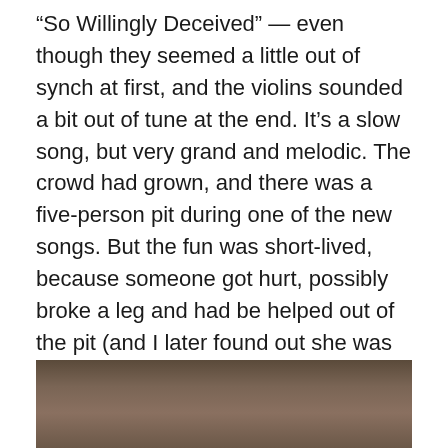“So Willingly Deceived” — even though they seemed a little out of synch at first, and the violins sounded a bit out of tune at the end. It’s a slow song, but very grand and melodic. The crowd had grown, and there was a five-person pit during one of the new songs. But the fun was short-lived, because someone got hurt, possibly broke a leg and had be helped out of the pit (and I later found out she was taken away in an ambulance). That put a damper on the moshing for a while. Toward the end of the set, Nick called for a circle pit during “Death is a Fine Companion,” and one started up again, this time with a few more people – maybe seven :P Isenmor made a big finish, and the crowd cheered enthusiastically. They’d be a hard act to follow, I thought.
[Figure (photo): Partial photo showing a dark-toned background, appears to be a concert or event photo, only the top portion is visible]